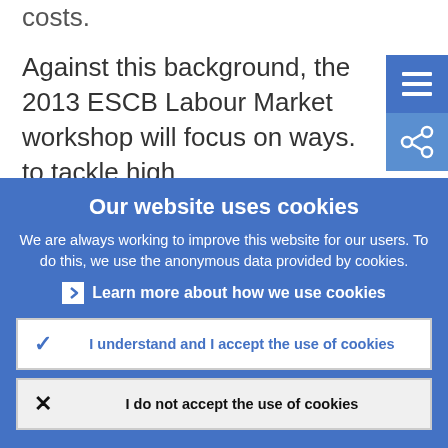costs.
Against this background, the 2013 ESCB Labour Market workshop will focus on ways to tackle high unemployment, as well as
Our website uses cookies
We are always working to improve this website for our users. To do this, we use the anonymous data provided by cookies.
Learn more about how we use cookies
I understand and I accept the use of cookies
I do not accept the use of cookies